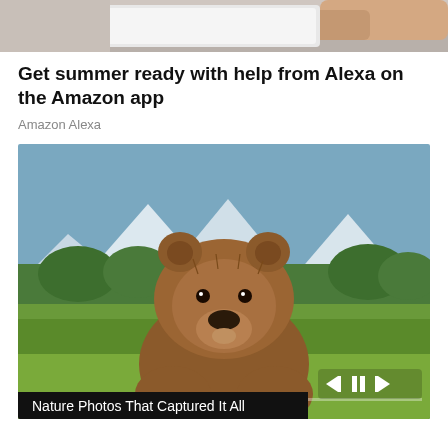[Figure (photo): Partial view of a hand holding a smartphone, cropped at the top of the page]
Get summer ready with help from Alexa on the Amazon app
Amazon Alexa
[Figure (photo): A large brown grizzly bear standing on green grass facing the camera, with snow-capped mountains and green trees in the background. A video player control bar with skip-back, pause, and skip-forward buttons is overlaid at the bottom right, along with a progress bar. A black caption bar reads 'Nature Photos That Captured It All'.]
Nature Photos That Captured It All